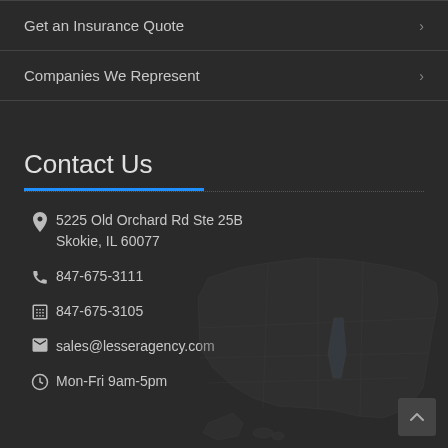Get an Insurance Quote
Companies We Represent
Contact Us
5225 Old Orchard Rd Ste 25B
Skokie, IL 60077
847-675-3111
847-675-3105
sales@lesseragency.com
Mon-Fri 9am-5pm
[Figure (map): Faded dark US map outline used as background decoration, with Illinois highlighted slightly.]